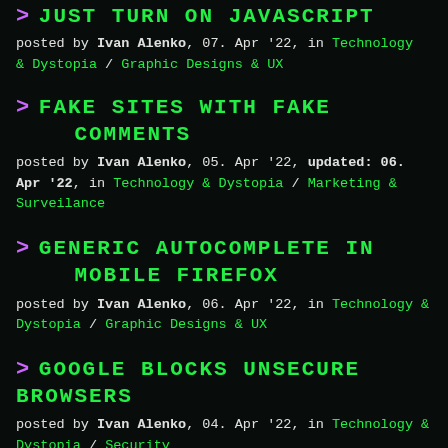JUST TURN ON JAVASCRIPT
posted by Ivan Alenko, 07. Apr '22, in Technology & Dystopia / Graphic Designs & UX
FAKE SITES WITH FAKE COMMENTS
posted by Ivan Alenko, 05. Apr '22, updated: 06. Apr '22, in Technology & Dystopia / Marketing & Surveilance
GENERIC AUTOCOMPLETE IN MOBILE FIREFOX
posted by Ivan Alenko, 06. Apr '22, in Technology & Dystopia / Graphic Designs & UX
GOOGLE BLOCKS UNSECURE BROWSERS
posted by Ivan Alenko, 04. Apr '22, in Technology & Dystopia / Security